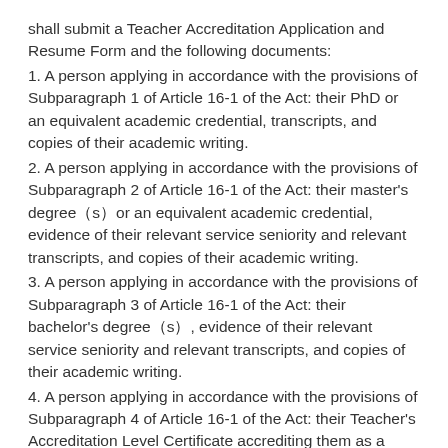shall submit a Teacher Accreditation Application and Resume Form and the following documents:
1. A person applying in accordance with the provisions of Subparagraph 1 of Article 16-1 of the Act: their PhD or an equivalent academic credential, transcripts, and copies of their academic writing.
2. A person applying in accordance with the provisions of Subparagraph 2 of Article 16-1 of the Act: their master’s degree（s）or an equivalent academic credential, evidence of their relevant service seniority and relevant transcripts, and copies of their academic writing.
3. A person applying in accordance with the provisions of Subparagraph 3 of Article 16-1 of the Act: their bachelor’s degree（s）, evidence of their relevant service seniority and relevant transcripts, and copies of their academic writing.
4. A person applying in accordance with the provisions of Subparagraph 4 of Article 16-1 of the Act: their Teacher’s Accreditation Level Certificate accrediting them as a Lecturer, evidence of their relevant service seniority and relevant